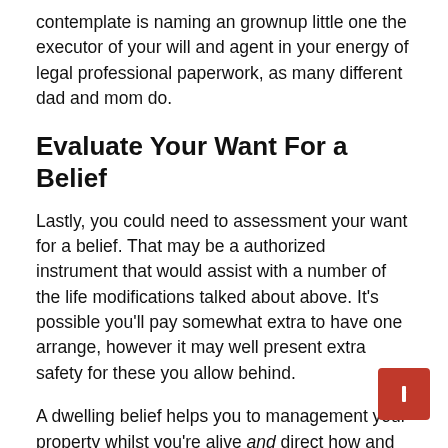contemplate is naming an grownup little one the executor of your will and agent in your energy of legal professional paperwork, as many different dad and mom do.
Evaluate Your Want For a Belief
Lastly, you could need to assessment your want for a belief. That may be a authorized instrument that would assist with a number of the life modifications talked about above. It's possible you'll pay somewhat extra to have one arrange, however it may well present extra safety for these you allow behind.
A dwelling belief helps you to management your property whilst you're alive and direct how and when heirs obtain them after your demise.
Think about a belief if you need extra management. For instance, you could not need a 21-year previous getting a lump sum of cash from a life insurance